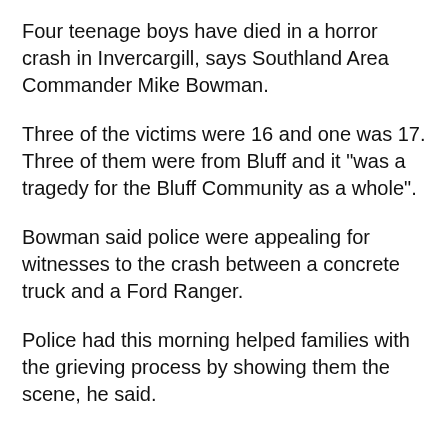Four teenage boys have died in a horror crash in Invercargill, says Southland Area Commander Mike Bowman.
Three of the victims were 16 and one was 17. Three of them were from Bluff and it "was a tragedy for the Bluff Community as a whole".
Bowman said police were appealing for witnesses to the crash between a concrete truck and a Ford Ranger.
Police had this morning helped families with the grieving process by showing them the scene, he said.
[Figure (screenshot): Partial screenshot showing what appears to be a dark colored object, likely a car door or dashboard]
[Figure (screenshot): Radio app bar showing LIVE badge, Listen on iHeart Radio text, Overnight Talk show name, avatars of two hosts, and a play button]
[Figure (screenshot): Mobile app bottom navigation bar with Home, Shows, Podcasts, News, and Menu icons on dark navy background]